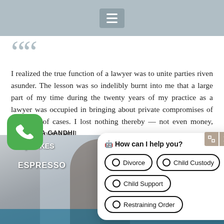Navigation menu bar with hamburger icon
“I realized the true function of a lawyer was to unite parties riven asunder. The lesson was so indelibly burnt into me that a large part of my time during the twenty years of my practice as a lawyer was occupied in bringing about private compromises of hundreds of cases. I lost nothing thereby — not even money, certainly not my soul.
MAHATMA GANDHI
[Figure (photo): Woman sitting in a cafe/restaurant setting with signs reading 'CAKES' and 'ESPRESSO' visible in background]
[Figure (screenshot): Chat widget overlay with question 'How can I help you?' and options: Divorce, Child Custody, Child Support, Restraining Order]